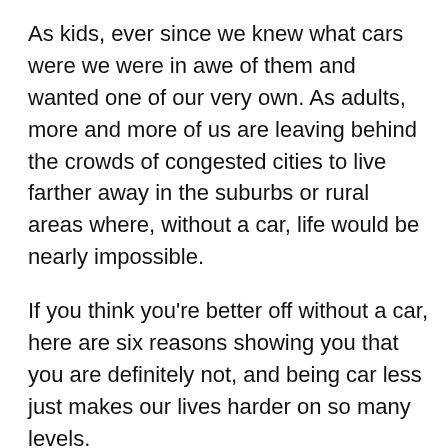As kids, ever since we knew what cars were we were in awe of them and wanted one of our very own. As adults, more and more of us are leaving behind the crowds of congested cities to live farther away in the suburbs or rural areas where, without a car, life would be nearly impossible.
If you think you're better off without a car, here are six reasons showing you that you are definitely not, and being car less just makes our lives harder on so many levels.
Cheaper: Owning a car is more economical for you than other modes of public commute, such as cabs, buses, trains and planes. When you tally up the price of public transport you use monthly, you'll see that